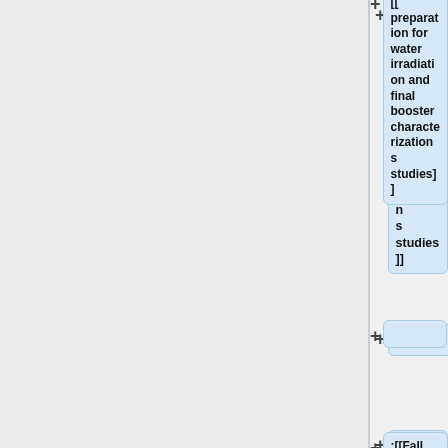[[preparation for water irradiation and final booster characterizations studies]]
:[[Fall Schedule Discussion]]
:[[media:UITF status report memo to Lab Leadership_June 2021.pdf]]
:[[media:Xi's assessment of